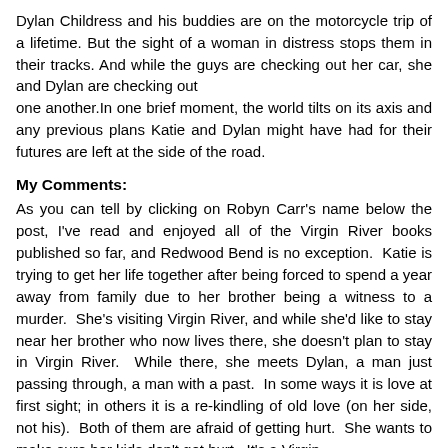Dylan Childress and his buddies are on the motorcycle trip of a lifetime. But the sight of a woman in distress stops them in their tracks. And while the guys are checking out her car, she and Dylan are checking out one another.In one brief moment, the world tilts on its axis and any previous plans Katie and Dylan might have had for their futures are left at the side of the road.
My Comments:
As you can tell by clicking on Robyn Carr's name below the post, I've read and enjoyed all of the Virgin River books published so far, and Redwood Bend is no exception. Katie is trying to get her life together after being forced to spend a year away from family due to her brother being a witness to a murder. She's visiting Virgin River, and while she'd like to stay near her brother who now lives there, she doesn't plan to stay in Virgin River. While there, she meets Dylan, a man just passing through, a man with a past. In some ways it is love at first sight; in others it is a re-kindling of old love (on her side, not his). Both of them are afraid of getting hurt. She wants to make sure her kids don't get hurt. It's a Virgin